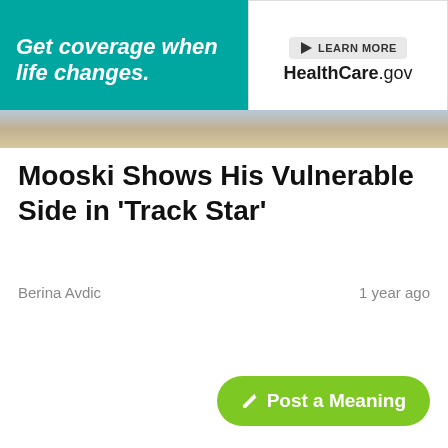[Figure (other): Advertisement banner: teal left panel with italic bold white text 'Get coverage when life changes.' and right white panel with 'LEARN MORE' button and 'HealthCare.gov' logo]
[Figure (photo): Partial photo strip visible behind the advertisement, showing blurred colorful image]
Mooski Shows His Vulnerable Side in 'Track Star'
Berina Avdic
1 year ago
[Figure (other): Green rounded button with pencil icon and text 'Post a Meaning']